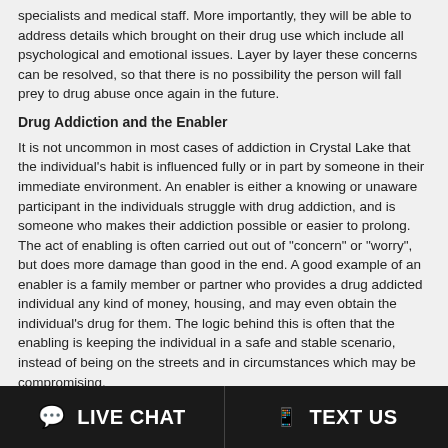specialists and medical staff. More importantly, they will be able to address details which brought on their drug use which include all psychological and emotional issues. Layer by layer these concerns can be resolved, so that there is no possibility the person will fall prey to drug abuse once again in the future.
Drug Addiction and the Enabler
It is not uncommon in most cases of addiction in Crystal Lake that the individual's habit is influenced fully or in part by someone in their immediate environment. An enabler is either a knowing or unaware participant in the individuals struggle with drug addiction, and is someone who makes their addiction possible or easier to prolong. The act of enabling is often carried out out of "concern" or "worry", but does more damage than good in the end. A good example of an enabler is a family member or partner who provides a drug addicted individual any kind of money, housing, and may even obtain the individual's drug for them. The logic behind this is often that the enabling is keeping the individual in a safe and stable scenario, instead of being on the streets and in circumstances which may be compromising.
Enablers are frequently the vital component in an addicted persons life which is actually making the drug addiction possible. Reversely, enablers can also be the key to helping someone get off of drugs once the enabling is discontinued. As soon as the enabling has been discontinued, drug addicted individuals will often find that it is no longer possible to continue their habit and will reach a crisis point. This is why
LIVE CHAT   TEXT US